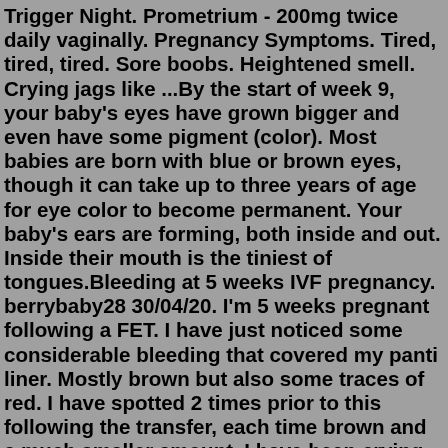Trigger Night. Prometrium - 200mg twice daily vaginally. Pregnancy Symptoms. Tired, tired, tired. Sore boobs. Heightened smell. Crying jags like ...By the start of week 9, your baby's eyes have grown bigger and even have some pigment (color). Most babies are born with blue or brown eyes, though it can take up to three years of age for eye color to become permanent. Your baby's ears are forming, both inside and out. Inside their mouth is the tiniest of tongues.Bleeding at 5 weeks IVF pregnancy. berrybaby28 30/04/20. I'm 5 weeks pregnant following a FET. I have just noticed some considerable bleeding that covered my panti liner. Mostly brown but also some traces of red. I have spotted 2 times prior to this following the transfer, each time brown and a much smaller amount. I have been crying since.Heightened sense of smell If morning sickness wasn't bad enough, this one of the 5 th pregnancy week symptom after IVF can make your life even more miserable. Women during their pregnancy are very sensitive to smells. Some of the